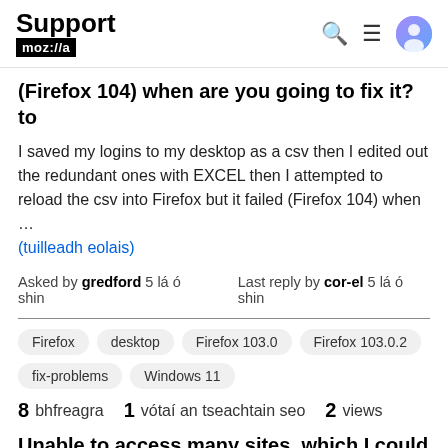Support mozilla://a
(Firefox 104) when are you going to fix it? to
I saved my logins to my desktop as a csv then I edited out the redundant ones with EXCEL then I attempted to reload the csv into Firefox but it failed (Firefox 104) when … (tuilleadh eolais)
Asked by gredford 5 lá ó shin   Last reply by cor-el 5 lá ó shin
Firefox   desktop   Firefox 103.0   Firefox 103.0.2   fix-problems   Windows 11
8 bhfreagra  1 vótaí an tseachtain seo  2 views
Unable to access many sites, which I could